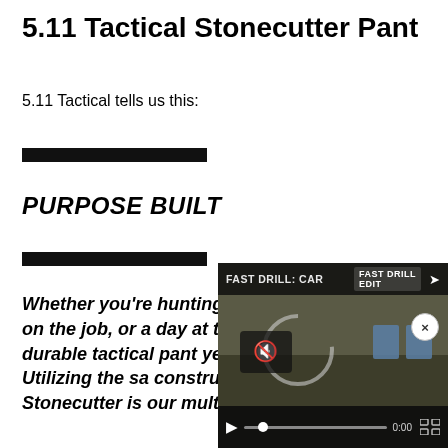5.11 Tactical Stonecutter Pant
5.11 Tactical tells us this:
PURPOSE BUILT
Whether you're hunting, heading out for a day on the job, or a day at the range, our most durable tactical pant yet is the ideal choice. Utilizing the sa construction as our p the Stonecutter is our multifaceted work hor
[Figure (screenshot): Embedded video player overlay showing 'FAST DRILL: CAR' video with playback controls, mute button, progress bar showing 0:00, and fullscreen button. Video scene shows outdoor shooting range with targets.]